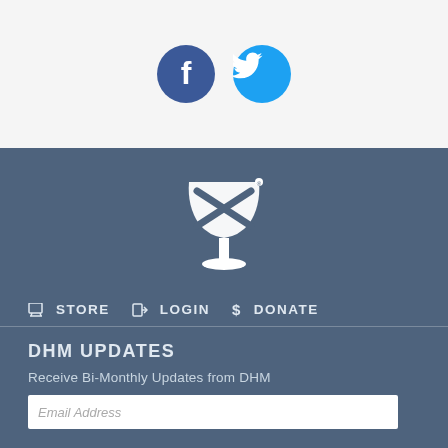[Figure (logo): Facebook and Twitter social media icon circles]
[Figure (logo): DHM chalice/goblet logo in white on steel-blue background]
STORE  LOGIN  DONATE
DHM UPDATES
Receive Bi-Monthly Updates from DHM